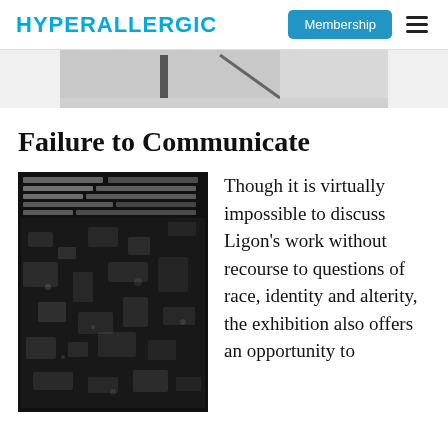HYPERALLERGIC
[Figure (photo): Top cropped image strip showing a partial artwork or photograph in grayscale]
Failure to Communicate
[Figure (photo): Black and white textured artwork image with dense overlapping text and noise pattern, nearly illegible]
Though it is virtually impossible to discuss Ligon's work without recourse to questions of race, identity and alterity, the exhibition also offers an opportunity to